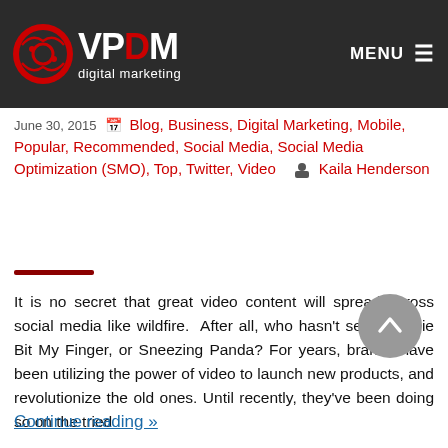VPDM digital marketing — MENU
June 30, 2015 · Blog, Business, Digital Marketing, Mobile, Popular, Recommended, Social Media, Social Media Optimization (SMO), Top, Twitter, Video · Kaila Henderson
It is no secret that great video content will spread across social media like wildfire. After all, who hasn't seen Charlie Bit My Finger, or Sneezing Panda? For years, brands have been utilizing the power of video to launch new products, and revolutionize the old ones. Until recently, they've been doing so on the tried
Continue reading »